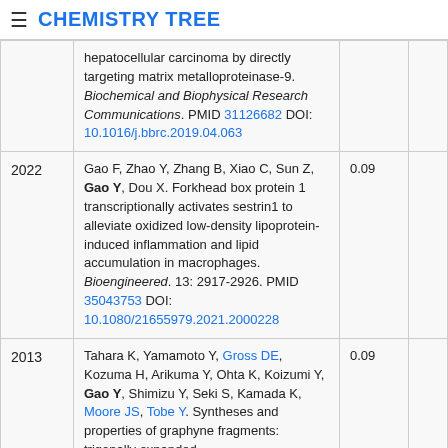≡ CHEMISTRY TREE
| Year | Reference | Score |
| --- | --- | --- |
|  | hepatocellular carcinoma by directly targeting matrix metalloproteinase-9. Biochemical and Biophysical Research Communications. PMID 31126682 DOI: 10.1016/j.bbrc.2019.04.063 |  |
| 2022 | Gao F, Zhao Y, Zhang B, Xiao C, Sun Z, Gao Y, Dou X. Forkhead box protein 1 transcriptionally activates sestrin1 to alleviate oxidized low-density lipoprotein-induced inflammation and lipid accumulation in macrophages. Bioengineered. 13: 2917-2926. PMID 35043753 DOI: 10.1080/21655979.2021.2000228 | 0.09 |
| 2013 | Tahara K, Yamamoto Y, Gross DE, Kozuma H, Arikuma Y, Ohta K, Koizumi Y, Gao Y, Shimizu Y, Seki S, Kamada K, Moore JS, Tobe Y. Syntheses and properties of graphyne fragments: trigonally expanded dehydrobenzo[12]annulenes. Chemistry (Weinheim An Der Bergstrasse, Germany). 19: 11251-60. PMID 23821553 DOI: 10.1002/Chem.201300838 | 0.09 |